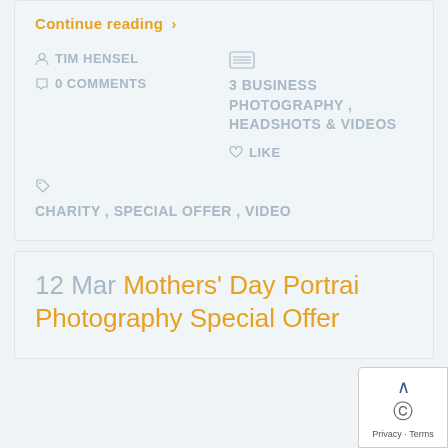Continue reading >
TIM HENSEL
3 BUSINESS PHOTOGRAPHY , HEADSHOTS & VIDEOS
0 COMMENTS
LIKE
CHARITY , SPECIAL OFFER , VIDEO
12 Mar Mothers' Day Portrait Photography Special Offer